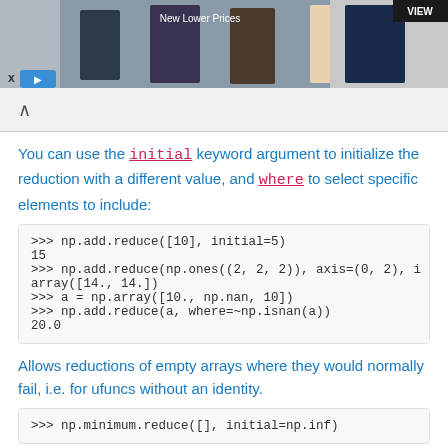[Figure (photo): Advertisement banner showing people in formal attire with 'New Lower Prices' text and a VIEW button]
You can use the initial keyword argument to initialize the reduction with a different value, and where to select specific elements to include:
>>> np.add.reduce([10], initial=5)
15
>>> np.add.reduce(np.ones((2, 2, 2)), axis=(0, 2), i
array([14., 14.])
>>> a = np.array([10., np.nan, 10])
>>> np.add.reduce(a, where=~np.isnan(a))
20.0
Allows reductions of empty arrays where they would normally fail, i.e. for ufuncs without an identity.
>>> np.minimum.reduce([], initial=np.inf)